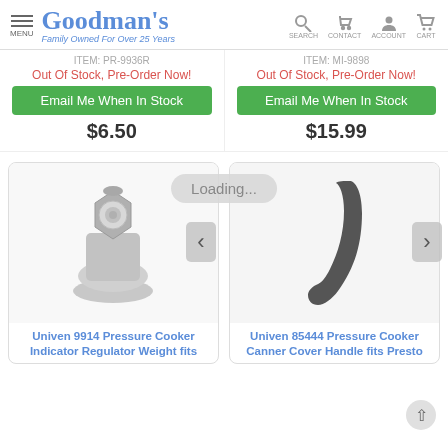Goodman's - Family Owned For Over 25 Years | SEARCH CONTACT ACCOUNT CART
ITEM: PR-9936R
ITEM: MI-9898
Out Of Stock, Pre-Order Now!
Out Of Stock, Pre-Order Now!
Email Me When In Stock
Email Me When In Stock
$6.50
$15.99
[Figure (photo): Univen 9914 Pressure Cooker Indicator Regulator Weight - silver metal part with hex nut base]
[Figure (photo): Univen 85444 Pressure Cooker Canner Cover Handle - dark curved plastic handle piece]
Loading...
Univen 9914 Pressure Cooker Indicator Regulator Weight fits
Univen 85444 Pressure Cooker Canner Cover Handle fits Presto